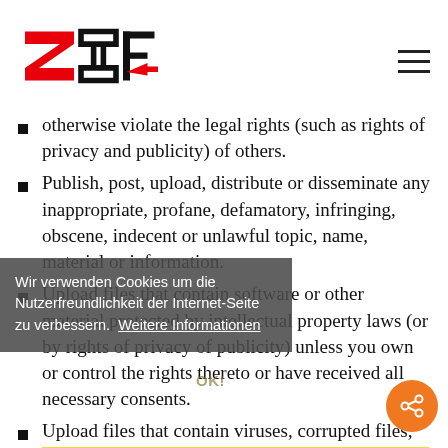ZCF logo and navigation
otherwise violate the legal rights (such as rights of privacy and publicity) of others.
Publish, post, upload, distribute or disseminate any inappropriate, profane, defamatory, infringing, obscene, indecent or unlawful topic, name, material or information.
Upload files that contain software or other material protected by intellectual property laws (or by rights of privacy of publicity) unless you own or control the rights thereto or have received all necessary consents.
Upload files that contain viruses, corrupted files, or any other similar software or programs that may damage the operation of another's computer.
Advertise or offer to sell or buy any goods or services for any business purpose, unless such
Wir verwenden Cookies um die Nutzerfreundlichkeit der Internet-Seite zu verbessern. Weitere Informationen